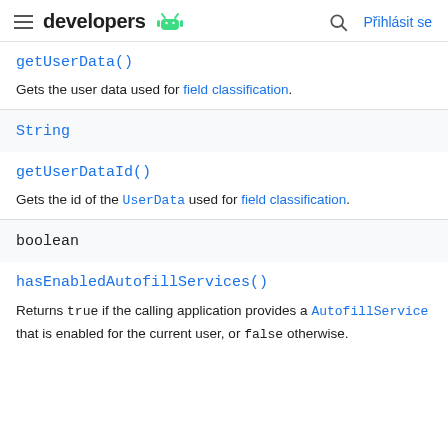developers | Přihlásit se
getUserData()
Gets the user data used for field classification.
String
getUserDataId()
Gets the id of the UserData used for field classification.
boolean
hasEnabledAutofillServices()
Returns true if the calling application provides a AutofillService that is enabled for the current user, or false otherwise.